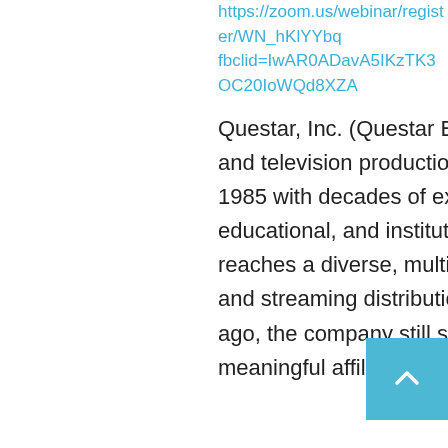https://zoom.us/webinar/register/WN_hKlYYbd... fbclid=IwAR0ADavA5IKzTK3OC20IoWQd8XZA...
Questar, Inc. (Questar Entertainment) is a Chicago-based film and television production and distribution company founded in 1985 with decades of experience contributing to consumer, educational, and institutional markets. Questar Entertainment reaches a diverse, multi-generational audience through both DVD and streaming distribution channels. Established over 30 years ago, the company still seeks out innovative content and meaningful affiliations.